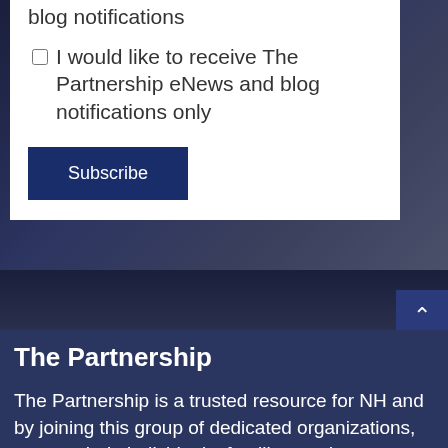blog notifications
I would like to receive The Partnership eNews and blog notifications only
Subscribe
The Partnership
The Partnership is a trusted resource for NH and by joining this group of dedicated organizations, you can help individuals, families, and communities